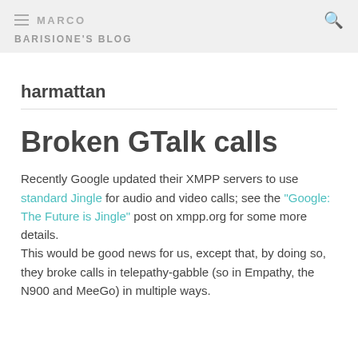MARCO BARISIONE'S BLOG
harmattan
Broken GTalk calls
Recently Google updated their XMPP servers to use standard Jingle for audio and video calls; see the “Google: The Future is Jingle” post on xmpp.org for some more details.
This would be good news for us, except that, by doing so, they broke calls in telepathy-gabble (so in Empathy, the N900 and MeeGo) in multiple ways.